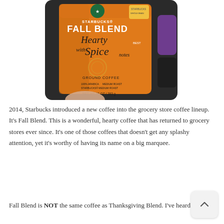[Figure (photo): Photo of a Starbucks Fall Blend ground coffee bag. Orange bag with Starbucks logo, text reads: STARBUCKS FALL BLEND, Hearty with Spice notes, GROUND COFFEE, 100% ARABICA STARBUCKS MEDIUM ROAST, NET WT 10 OZ / 283 g. A purple item is visible in the background.]
2014, Starbucks introduced a new coffee into the grocery store coffee lineup. It's Fall Blend. This is a wonderful, hearty coffee that has returned to grocery stores ever since. It's one of those coffees that doesn't get any splashy attention, yet it's worthy of having its name on a big marquee.
Fall Blend is NOT the same coffee as Thanksgiving Blend. I've heard partners